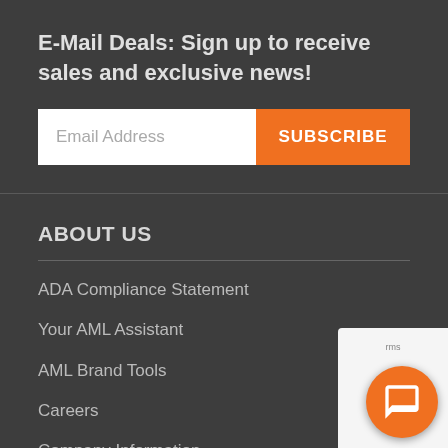E-Mail Deals: Sign up to receive sales and exclusive news!
Email Address
SUBSCRIBE
ABOUT US
ADA Compliance Statement
Your AML Assistant
AML Brand Tools
Careers
Company Information
Directions